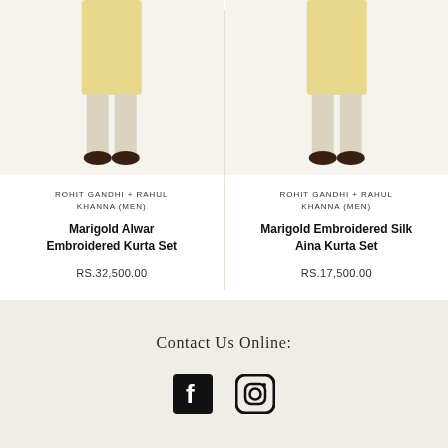[Figure (photo): Man wearing a yellow kurta with white pants and dark shoes - product photo for Marigold Alwar Embroidered Kurta Set]
ROHIT GANDHI + RAHUL KHANNA (MEN)
Marigold Alwar Embroidered Kurta Set
RS.32,500.00
[Figure (photo): Man wearing a yellow kurta with white pants and dark shoes - product photo for Marigold Embroidered Silk Aina Kurta Set]
ROHIT GANDHI + RAHUL KHANNA (MEN)
Marigold Embroidered Silk Aina Kurta Set
RS.17,500.00
Contact Us Online:
[Figure (other): Facebook and Instagram social media icons]